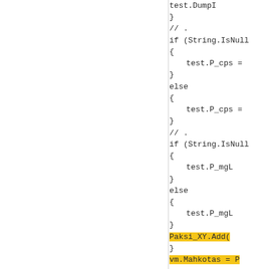Code block showing C# code with if/else statements checking String.IsNull conditions, setting test.P_cps and test.P_mgL values, with highlighted lines for Paksi_XY.Add( and vm.Mahkotas = P